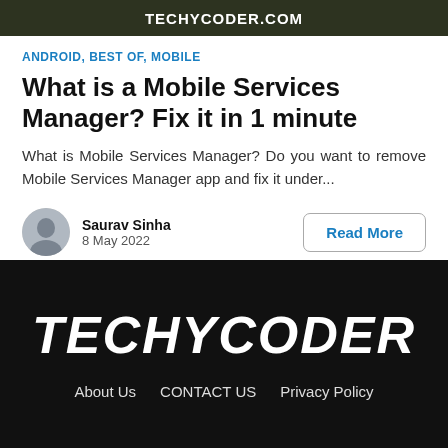TECHYCODER.COM
ANDROID, BEST OF, MOBILE
What is a Mobile Services Manager? Fix it in 1 minute
What is Mobile Services Manager? Do you want to remove Mobile Services Manager app and fix it under...
Saurav Sinha
8 May 2022
Read More
TECHYCODER
About Us  CONTACT US  Privacy Policy